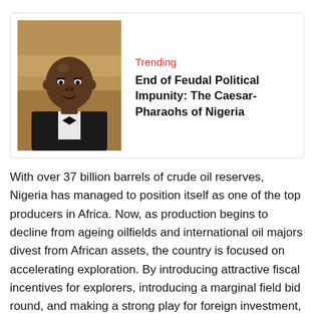[Figure (photo): Portrait photo of a Black man in a black tuxedo with bow tie, bald head, against a warm-toned background.]
Trending
End of Feudal Political Impunity: The Caesar-Pharaohs of Nigeria
With over 37 billion barrels of crude oil reserves, Nigeria has managed to position itself as one of the top producers in Africa. Now, as production begins to decline from ageing oilfields and international oil majors divest from African assets, the country is focused on accelerating exploration. By introducing attractive fiscal incentives for explorers, introducing a marginal field bid round, and making a strong play for foreign investment, Nigeria has sent its...